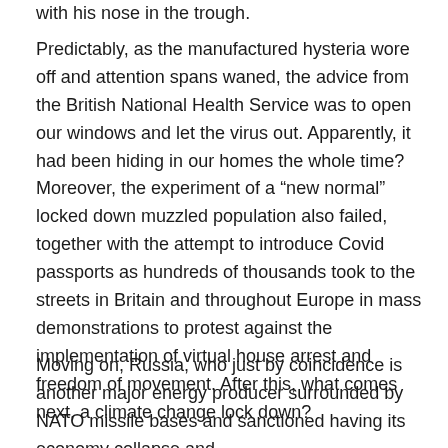with his nose in the trough.
Predictably, as the manufactured hysteria wore off and attention spans waned, the advice from the British National Health Service was to open our windows and let the virus out. Apparently, it had been hiding in our homes the whole time? Moreover, the experiment of a “new normal” locked down muzzled population also failed, together with the attempt to introduce Covid passports as hundreds of thousands took to the streets in Britain and throughout Europe in mass demonstrations to protest against the implementation of virtual house arrest and freedom of movement. After this, what comes next, a climate change lock down?
Moving on, Russia, who just by coincidence is another major energy producer surrounded by NATO missile bases and sanctioned having its economy collapse and